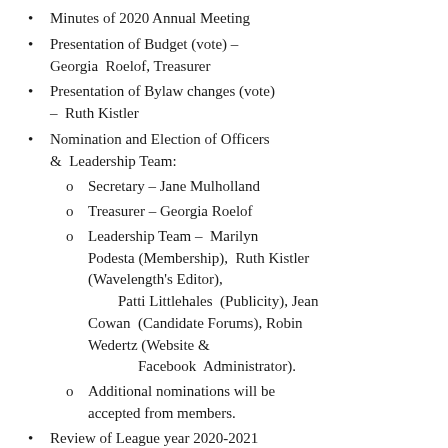Minutes of 2020 Annual Meeting
Presentation of Budget (vote) – Georgia  Roelof, Treasurer
Presentation of Bylaw changes (vote) –  Ruth Kistler
Nomination and Election of Officers &  Leadership Team:
o Secretary – Jane Mulholland
o Treasurer – Georgia Roelof
o Leadership Team –  Marilyn Podesta (Membership),  Ruth Kistler (Wavelength's Editor),  Patti Littlehales  (Publicity), Jean Cowan  (Candidate Forums), Robin Wedertz (Website &  Facebook  Administrator).
o Additional nominations will be accepted from members.
Review of League year 2020-2021